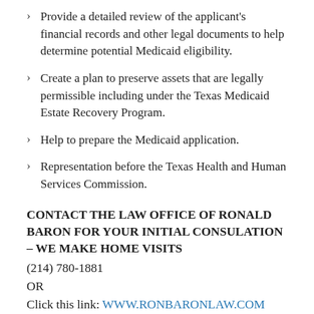Provide a detailed review of the applicant's financial records and other legal documents to help determine potential Medicaid eligibility.
Create a plan to preserve assets that are legally permissible including under the Texas Medicaid Estate Recovery Program.
Help to prepare the Medicaid application.
Representation before the Texas Health and Human Services Commission.
CONTACT THE LAW OFFICE OF RONALD BARON FOR YOUR INITIAL CONSULATION – WE MAKE HOME VISITS
(214) 780-1881
OR
Click this link: WWW.RONBARONLAW.COM